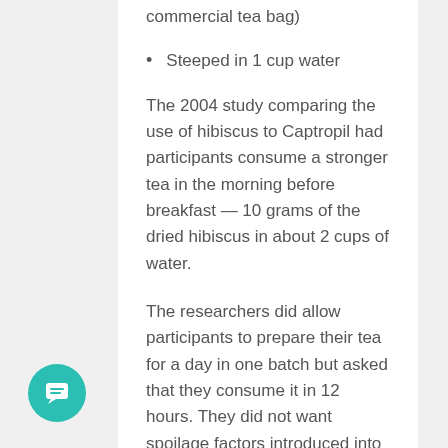commercial tea bag)
Steeped in 1 cup water
The 2004 study comparing the use of hibiscus to Captropil had participants consume a stronger tea in the morning before breakfast — 10 grams of the dried hibiscus in about 2 cups of water.
The researchers did allow participants to prepare their tea for a day in one batch but asked that they consume it in 12 hours. They did not want spoilage factors introduced into their study and if you are on a strict regimen you probably do not want to hold your tea